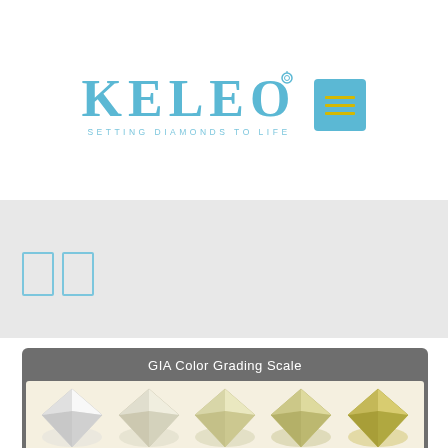[Figure (logo): KELEO brand logo with ring icon above O, tagline SETTING DIAMONDS TO LIFE in light blue, and a cyan square menu button with yellow horizontal lines]
[Figure (other): Gray background band with two light blue outlined rectangle placeholder icons]
[Figure (other): GIA Color Grading Scale section showing five diamond gemstones in a row ranging from colorless/white to light yellow, on a light beige background, with gray header bar]